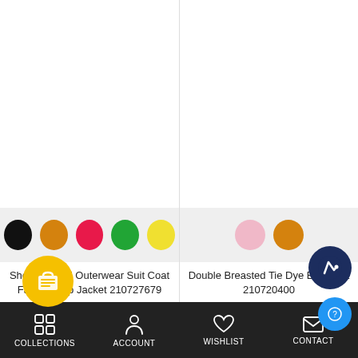[Figure (screenshot): Product card 1: color swatches (black, orange, pink, green, yellow) for Shoulder Pad Outerwear Suit Coat Fashion Top Jacket 210727679]
Shoulder Pad Outerwear Suit Coat Fashion Top Jacket 210727679
$12.08
[Figure (screenshot): Product card 2: color swatches (pink, orange) for Double Breasted Tie Dye Bl... Coat 210720400]
Double Breasted Tie Dye Bl... Coat 210720400
$19.09
COLLECTIONS   ACCOUNT   WISHLIST   CONTACT